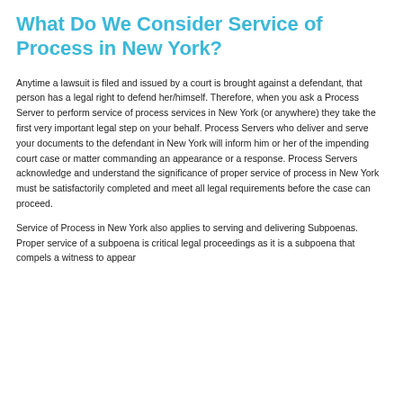What Do We Consider Service of Process in New York?
Anytime a lawsuit is filed and issued by a court is brought against a defendant, that person has a legal right to defend her/himself. Therefore, when you ask a Process Server to perform service of process services in New York (or anywhere) they take the first very important legal step on your behalf. Process Servers who deliver and serve your documents to the defendant in New York will inform him or her of the impending court case or matter commanding an appearance or a response. Process Servers acknowledge and understand the significance of proper service of process in New York must be satisfactorily completed and meet all legal requirements before the case can proceed.
Service of Process in New York also applies to serving and delivering Subpoenas. Proper service of a subpoena is critical legal proceedings as it is a subpoena that compels a witness to appear